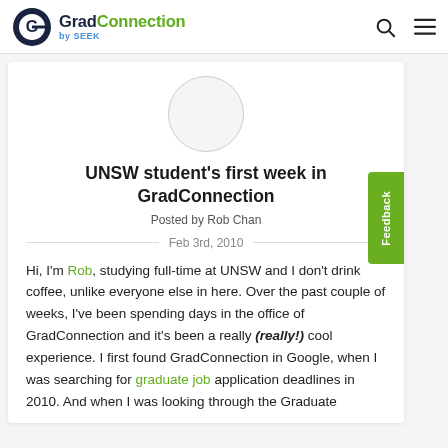GradConnection by SEEK
[Figure (logo): GradConnection by SEEK logo with circular G icon]
[Figure (photo): Circular avatar/profile photo placeholder]
UNSW student's first week in GradConnection
Posted by Rob Chan
Feb 3rd, 2010
Hi, I'm Rob, studying full-time at UNSW and I don't drink coffee, unlike everyone else in here. Over the past couple of weeks, I've been spending days in the office of GradConnection and it's been a really (really!) cool experience. I first found GradConnection in Google, when I was searching for graduate job application deadlines in 2010. And when I was looking through the Graduate